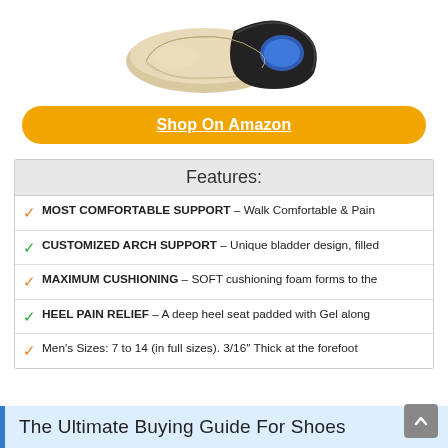[Figure (photo): Product photo of beige/tan shoe insoles with blue gel heel pad, shown from above at an angle.]
Shop On Amazon
Features:
MOST COMFORTABLE SUPPORT – Walk Comfortable & Pain
CUSTOMIZED ARCH SUPPORT – Unique bladder design, filled
MAXIMUM CUSHIONING – SOFT cushioning foam forms to the
HEEL PAIN RELIEF – A deep heel seat padded with Gel along
Men's Sizes: 7 to 14 (in full sizes). 3/16″ Thick at the forefoot
The Ultimate Buying Guide For Shoes